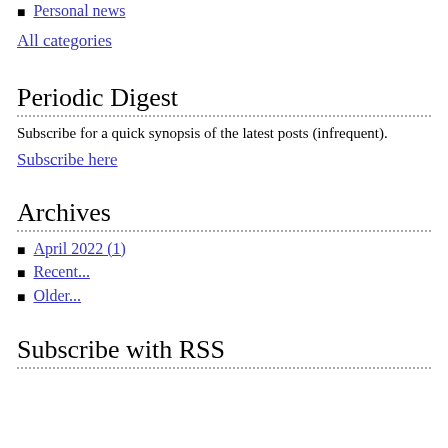Personal news
All categories
Periodic Digest
Subscribe for a quick synopsis of the latest posts (infrequent).
Subscribe here
Archives
April 2022 (1)
Recent...
Older...
Subscribe with RSS